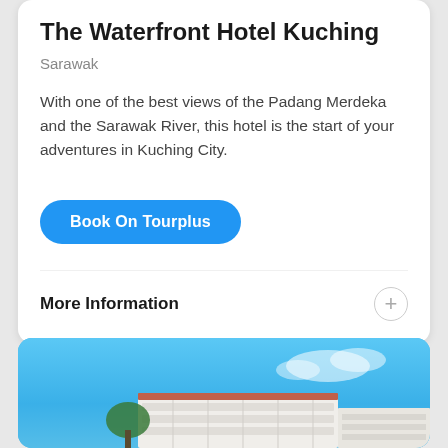The Waterfront Hotel Kuching
Sarawak
With one of the best views of the Padang Merdeka and the Sarawak River, this hotel is the start of your adventures in Kuching City.
Book On Tourplus
More Information
[Figure (photo): Photo of The Waterfront Hotel Kuching building against a blue sky]